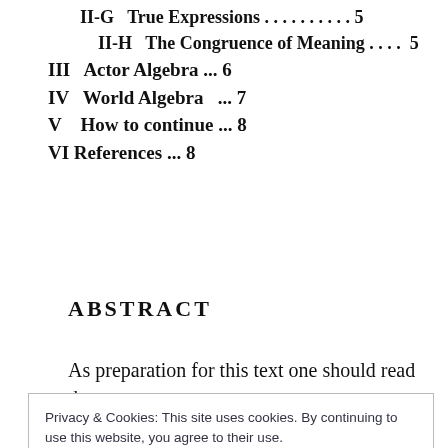II-G  True Expressions . . . . . . . . . . 5
II-H  The Congruence of Meaning . . . . 5
III  Actor Algebra ... 6
IV  World Algebra  ... 7
V   How to continue ... 8
VI References ... 8
ABSTRACT
As preparation for this text one should read the
Privacy & Cookies: This site uses cookies. By continuing to use this website, you agree to their use.
To find out more, including how to control cookies, see here:
Cookie Policy
Close and accept
his observations oft he world to someone else